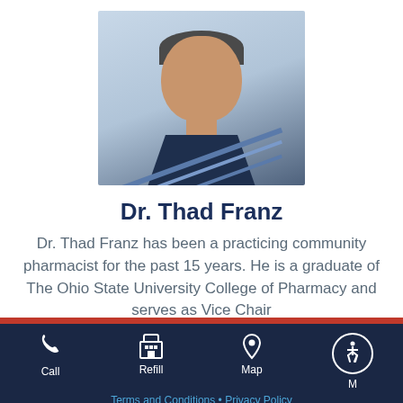[Figure (photo): Headshot photo of Dr. Thad Franz, a middle-aged man with short gray hair wearing a dark navy striped polo shirt, smiling against a light blue-gray background.]
Dr. Thad Franz
Dr. Thad Franz has been a practicing community pharmacist for the past 15 years. He is a graduate of The Ohio State University College of Pharmacy and serves as Vice Chair
Call  Refill  Map  [Accessibility]  Terms and Conditions • Privacy Policy